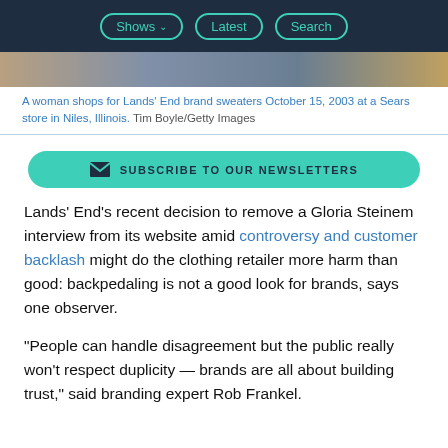Shows  Latest  Search
[Figure (photo): Partial image strip showing a woman shopping, cropped to a narrow horizontal band]
A woman shops for Lands’ End brand sweaters October 15, 2003 at a Sears store in Niles, Illinois. Tim Boyle/Getty Images
[Figure (other): Subscribe to our newsletters button]
Lands’ End’s recent decision to remove a Gloria Steinem interview from its website amid controversy and customer backlash might do the clothing retailer more harm than good: backpedaling is not a good look for brands, says one observer.
“People can handle disagreement but the public really won’t respect duplicity — brands are all about building trust,” said branding expert Rob Frankel.